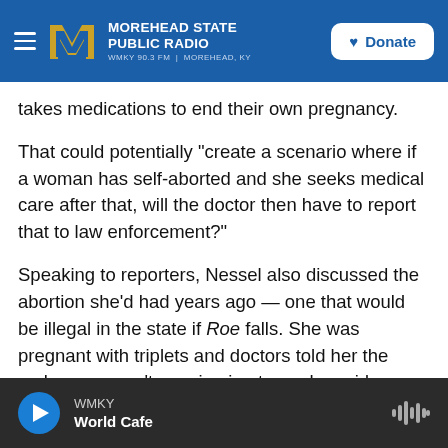Morehead State Public Radio — WMKY 90.3 FM | Morehead, KY — Donate
takes medications to end their own pregnancy.
That could potentially "create a scenario where if a woman has self-aborted and she seeks medical care after that, will the doctor then have to report that to law enforcement?"
Speaking to reporters, Nessel also discussed the abortion she'd had years ago — one that would be illegal in the state if Roe falls. She was pregnant with triplets and doctors told her the embryos weren't growing in utero, she said.
WMKY — World Cafe